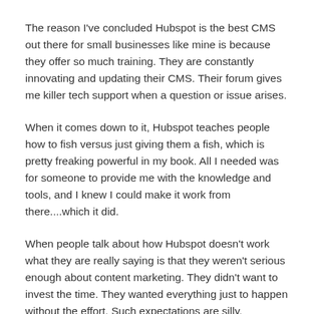The reason I've concluded Hubspot is the best CMS out there for small businesses like mine is because they offer so much training. They are constantly innovating and updating their CMS. Their forum gives me killer tech support when a question or issue arises.
When it comes down to it, Hubspot teaches people how to fish versus just giving them a fish, which is pretty freaking powerful in my book. All I needed was for someone to provide me with the knowledge and tools, and I knew I could make it work from there....which it did.
When people talk about how Hubspot doesn't work what they are really saying is that they weren't serious enough about content marketing. They didn't want to invest the time. They wanted everything just to happen without the effort. Such expectations are silly, especially when it comes to SEO....or business and life in general for that matter.